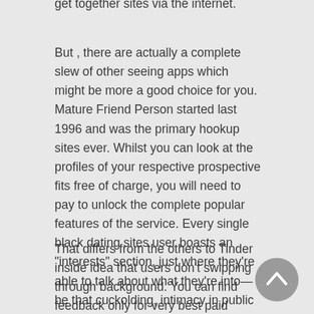get together sites via the internet.
But , there are actually a complete slew of other seeing apps which might be more a good choice for you. Mature Friend Person started last 1996 and was the primary hookup sites ever. Whilst you can look at the profiles of your respective prospective fits free of charge, you will need to pay to unlock the complete popular features of the service. Every single black dating sites user boasts an "interests" section, just where they're able to talk about what they're into—be that cuckolding, intimacy in public areas, or perhaps watersports—and while using the site is normally free, although you spend on features like observing who suggestions your account and HI-DEF photos.
That differs from the others to Tinder inside idea that users don't swipping through background. You can find feedback only for very best paid dating sites and matchmaking products with this provider.
[Figure (other): Scroll-to-top circular button with upward chevron arrow]